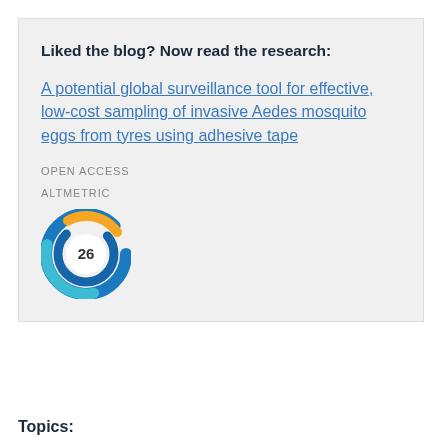Liked the blog? Now read the research:
A potential global surveillance tool for effective, low-cost sampling of invasive Aedes mosquito eggs from tyres using adhesive tape
OPEN ACCESS
ALTMETRIC
[Figure (other): Altmetric donut badge showing score of 26, with blue and yellow swirling ring design around a white circle containing the number 26]
Topics: